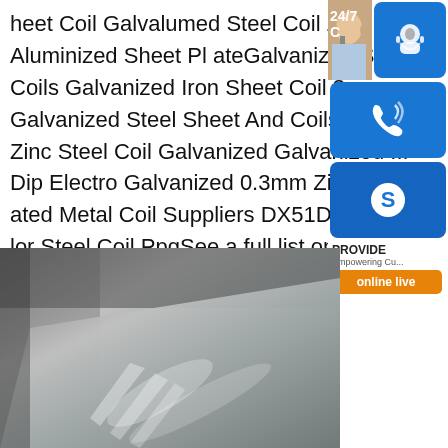heet Coil Galvalumed Steel Coil Zinc Aluminized Sheet PlateGalvanized Steel Coils Galvanized Iron Sheet Coil 3mm Galvanized Steel Sheet And Coils Z27... Zinc Steel Coil Galvanized Galvanized ... Dip Electro Galvanized 0.3mm Zinc Coated Metal Coil Suppliers DX51D DX52D... lor Steel Coil PpgSee a full list on
[Figure (photo): Photo of a shiny galvanized steel sheet/coil with reflective metallic surface]
[Figure (infographic): Customer service sidebar widget with 24/7 chat icon, phone icon, Skype icon, PROVIDE Empowering Customers banner, and online live button]